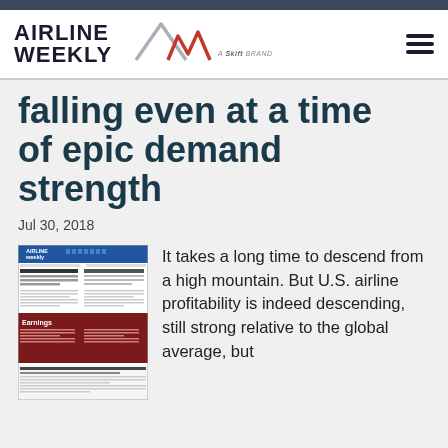AIRLINE WEEKLY — A Skift Brand
falling even at a time of epic demand strength
Jul 30, 2018
[Figure (photo): Thumbnail image of an Airline Weekly newsletter front page]
It takes a long time to descend from a high mountain. But U.S. airline profitability is indeed descending, still strong relative to the global average, but